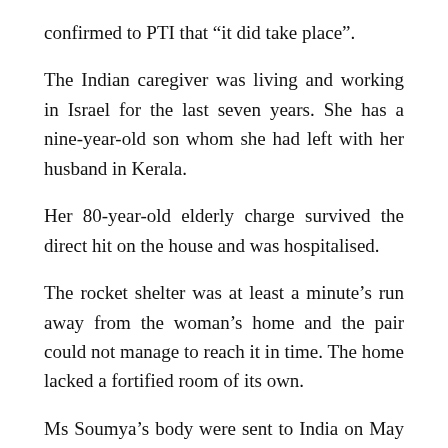confirmed to PTI that “it did take place”.
The Indian caregiver was living and working in Israel for the last seven years. She has a nine-year-old son whom she had left with her husband in Kerala.
Her 80-year-old elderly charge survived the direct hit on the house and was hospitalised.
The rocket shelter was at least a minute’s run away from the woman’s home and the pair could not manage to reach it in time. The home lacked a fortified room of its own.
Ms Soumya’s body were sent to India on May 14 in a specially arranged flight and reached her hometown the next day.
Israel’s Ambassador to India, Dr. Ron Malka, also spoke to the family but we do not see this sentence end on the page.